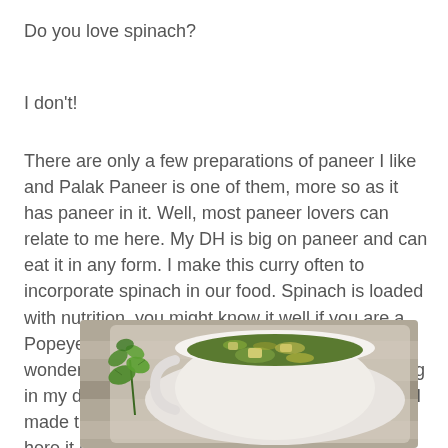Do you love spinach?
I don't!
There are only a few preparations of paneer I like and Palak Paneer is one of them, more so as it has paneer in it. Well, most paneer lovers can relate to me here. My DH is big on paneer and can eat it in any form. I make this curry often to incorporate spinach in our food. Spinach is loaded with nutrition, you might know it well if you are a Popeye fan, gulping down a spinach drink does wonders to it strength. This recipe has been sitting in my drafts for a long time and I realized it when I made this curry yesterday. With out much ado, here it is:
[Figure (photo): A white bowl/cup filled with green Palak Paneer curry, garnished with fresh cilantro/coriander leaves on the side, placed on a striped cloth or tray.]